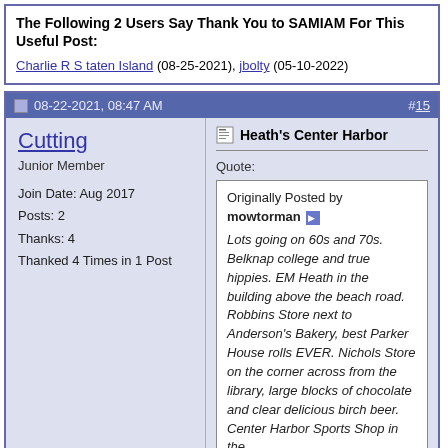The Following 2 Users Say Thank You to SAMIAM For This Useful Post:
Charlie R S taten Island (08-25-2021), jbolty (05-10-2022)
08-22-2021, 08:47 AM  #15
Cutting
Junior Member
Join Date: Aug 2017
Posts: 2
Thanks: 4
Thanked 4 Times in 1 Post
Heath's Center Harbor
Quote:
Originally Posted by mowtorman
Lots going on 60s and 70s. Belknap college and true hippies. EM Heath in the building above the beach road. Robbins Store next to Anderson's Bakery, best Parker House rolls EVER. Nichols Store on the corner across from the library, large blocks of chocolate and clear delicious birch beer. Center Harbor Sports Shop in the